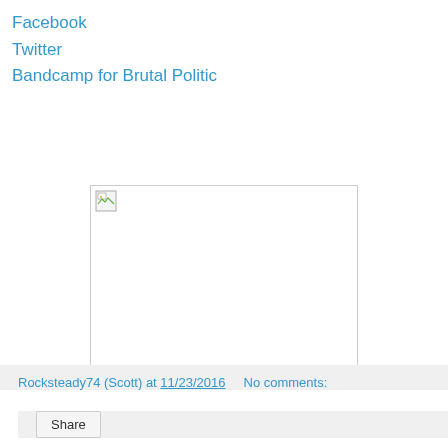Facebook
Twitter
Bandcamp for Brutal Politic
[Figure (photo): Broken/missing image placeholder with small broken image icon in top-left corner, white background with border]
Rocksteady74 (Scott) at 11/23/2016    No comments:
Share